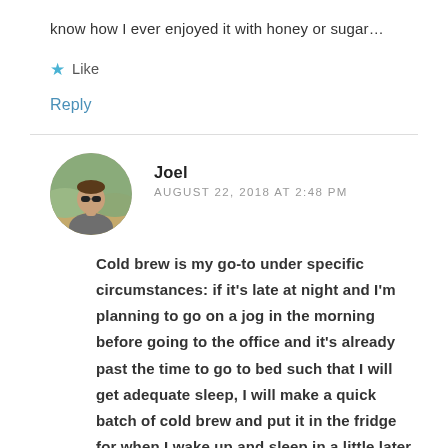know how I ever enjoyed it with honey or sugar…
★ Like
Reply
[Figure (photo): Circular avatar photo of a man named Joel wearing sunglasses and a grey t-shirt, arms crossed, outdoors with greenery in the background.]
Joel
AUGUST 22, 2018 AT 2:48 PM
Cold brew is my go-to under specific circumstances: if it's late at night and I'm planning to go on a jog in the morning before going to the office and it's already past the time to go to bed such that I will get adequate sleep, I will make a quick batch of cold brew and put it in the fridge for when I wake up and sleep in a little later, wake up, down the cold brew shot and go run – in lieu of getting